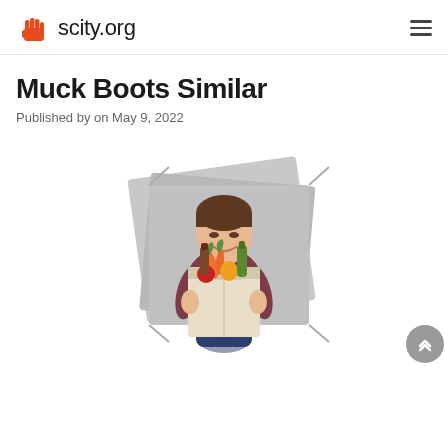scity.org
Muck Boots Similar
Published by on May 9, 2022
[Figure (illustration): Cartoon illustration of a smiling man holding a paper grocery bag full of vegetables and bottles, with grey rectangles in the background suggesting stacked photos or cards.]